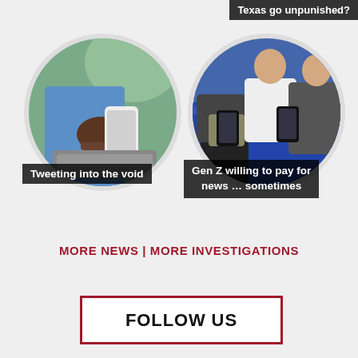Texas go unpunished?
[Figure (photo): Person holding a smartphone while using a laptop computer, circular crop]
Tweeting into the void
[Figure (photo): Group of people sitting and using smartphones, circular crop]
Gen Z willing to pay for news ... sometimes
MORE NEWS | MORE INVESTIGATIONS
FOLLOW US